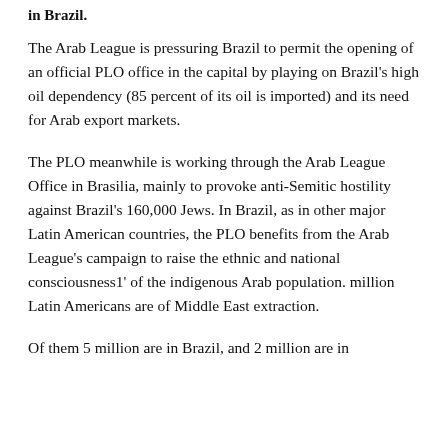in Brazil.
The Arab League is pressuring Brazil to permit the opening of an official PLO office in the capital by playing on Brazil's high oil dependency (85 percent of its oil is imported) and its need for Arab export markets.
The PLO meanwhile is working through the Arab League Office in Brasilia, mainly to provoke anti-Semitic hostility against Brazil's 160,000 Jews. In Brazil, as in other major Latin American countries, the PLO benefits from the Arab League's campaign to raise the ethnic and national consciousness1' of the indigenous Arab population. million Latin Americans are of Middle East extraction.
Of them 5 million are in Brazil, and 2 million are in